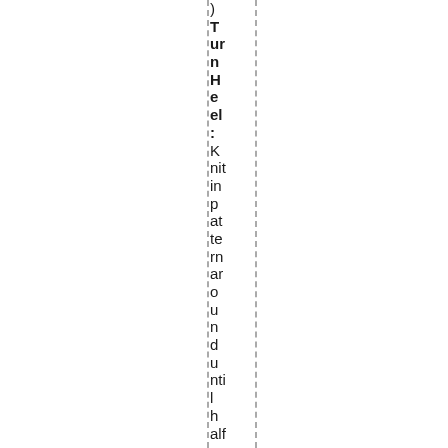) TurnHeel: Knitting pattern around until halfway thro